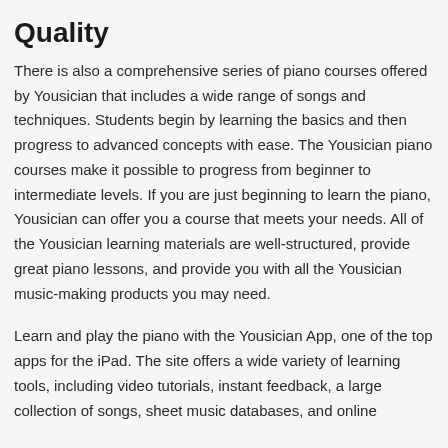Quality
There is also a comprehensive series of piano courses offered by Yousician that includes a wide range of songs and techniques. Students begin by learning the basics and then progress to advanced concepts with ease. The Yousician piano courses make it possible to progress from beginner to intermediate levels. If you are just beginning to learn the piano, Yousician can offer you a course that meets your needs. All of the Yousician learning materials are well-structured, provide great piano lessons, and provide you with all the Yousician music-making products you may need.
Learn and play the piano with the Yousician App, one of the top apps for the iPad. The site offers a wide variety of learning tools, including video tutorials, instant feedback, a large collection of songs, sheet music databases, and online